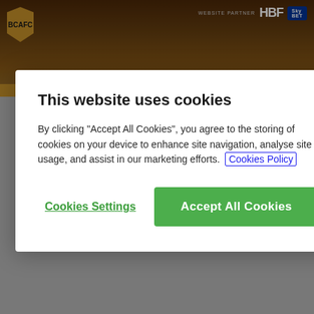[Figure (screenshot): Sports website header with stadium photo background, club badge top left, HBF and Sky Bet logos top right, gold navigation band]
WIN
8 May 2016
79 views
The Bantams rounded off the regular season with a comfortable win against Chesterfield thanks to goals from
This website uses cookies
By clicking "Accept All Cookies", you agree to the storing of cookies on your device to enhance site navigation, analyse site usage, and assist in our marketing efforts.  Cookies Policy
Cookies Settings
Accept All Cookies